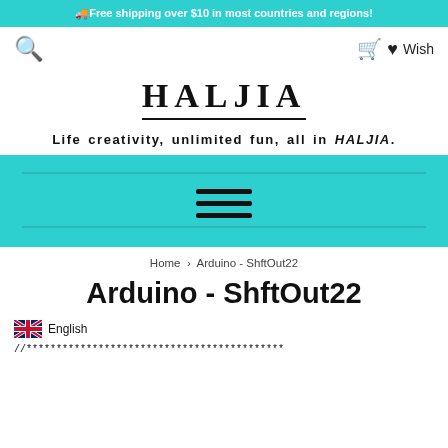🚚Free shipping over $10 in most countries and regions!
🔍  🛒 ♥ Wish
HALJIA
Life creativity, unlimited fun, all in HALJIA.
[Figure (infographic): Teal navigation bar with hamburger menu icon (three horizontal lines)]
Home > Arduino - ShftOut22
Arduino - ShftOut22
English
//*******************************************